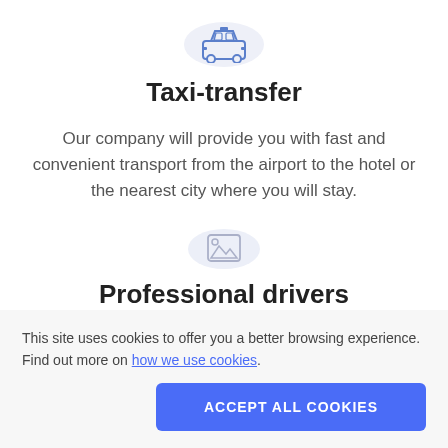[Figure (illustration): Taxi car icon inside a light blue/gray circular background]
Taxi-transfer
Our company will provide you with fast and convenient transport from the airport to the hotel or the nearest city where you will stay.
[Figure (illustration): Placeholder image icon inside a light blue/gray circular background]
Professional drivers
This site uses cookies to offer you a better browsing experience. Find out more on how we use cookies.
ACCEPT ALL COOKIES